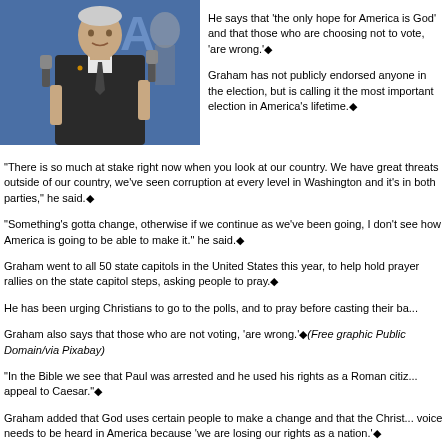[Figure (photo): Man speaking into microphones at a press event, wearing a suit and tie, with a blue background.]
He says that 'the only hope for America is God' and that those who are choosing not to vote, 'are wrong.'◆
Graham has not publicly endorsed anyone in the election, but is calling it the most important election in America's lifetime.◆
"There is so much at stake right now when you look at our country. We have great threats outside of our country, we've seen corruption at every level in Washington and it's in both parties," he said.◆
"Something's gotta change, otherwise if we continue as we've been going, I don't see how America is going to be able to make it." he said.◆
Graham went to all 50 state capitols in the United States this year, to help hold prayer rallies on the state capitol steps, asking people to pray.◆
He has been urging Christians to go to the polls, and to pray before casting their ba...
Graham also says that those who are not voting, 'are wrong.'◆(Free graphic Public Domain/via Pixabay)
"In the Bible we see that Paul was arrested and he used his rights as a Roman citiz... appeal to Caesar."◆
Graham added that God uses certain people to make a change and that the Christ... voice needs to be heard in America because 'we are losing our rights as a nation.'◆
He also said that voters should be focused on the Supreme Court before heading to the polls to vote.◆